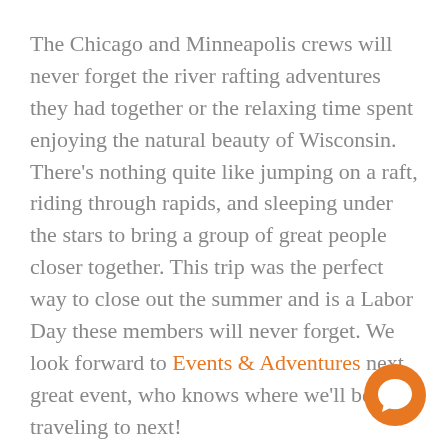The Chicago and Minneapolis crews will never forget the river rafting adventures they had together or the relaxing time spent enjoying the natural beauty of Wisconsin. There's nothing quite like jumping on a raft, riding through rapids, and sleeping under the stars to bring a group of great people closer together. This trip was the perfect way to close out the summer and is a Labor Day these members will never forget. We look forward to Events & Adventures next great event, who knows where we'll be traveling to next!
[Figure (illustration): Orange circular chat/messenger button icon in bottom-right corner]